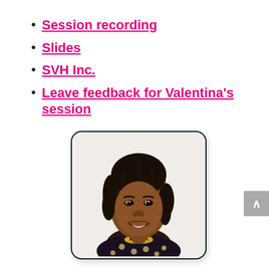Session recording
Slides
SVH Inc.
Leave feedback for Valentina's session
[Figure (photo): Headshot photo of a smiling young Black woman with braided hair, wearing a dark polka-dot blouse and a gold necklace, in a rounded-corner white bordered frame.]